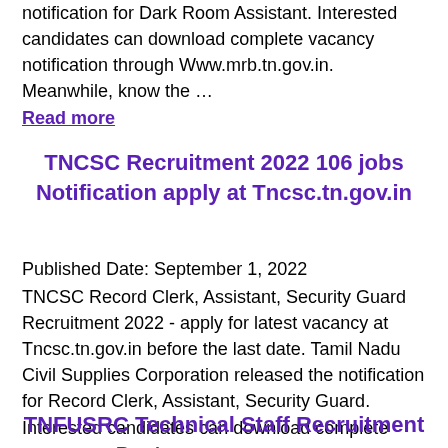notification for Dark Room Assistant. Interested candidates can download complete vacancy notification through Www.mrb.tn.gov.in. Meanwhile, know the …
Read more
TNCSC Recruitment 2022 106 jobs Notification apply at Tncsc.tn.gov.in
Published Date: September 1, 2022
TNCSC Record Clerk, Assistant, Security Guard Recruitment 2022 - apply for latest vacancy at Tncsc.tn.gov.in before the last date. Tamil Nadu Civil Supplies Corporation released the notification for Record Clerk, Assistant, Security Guard. Interested candidates can download complete vacancy … Read more
TNFUSRC Technical Staff Recruitment